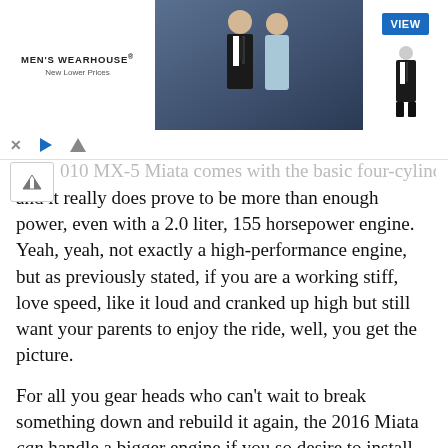[Figure (photo): Men's Wearhouse advertisement banner showing a couple in formal wedding attire and a mannequin in a tuxedo with a blue VIEW button]
010 MX-5 Miata comes with the basic four-cylinders, and it really does prove to be more than enough power, even with a 2.0 liter, 155 horsepower engine. Yeah, yeah, not exactly a high-performance engine, but as previously stated, if you are a working stiff, love speed, like it loud and cranked up high but still want your parents to enjoy the ride, well, you get the picture.
For all you gear heads who can’t wait to break something down and rebuild it again, the 2016 Miata can handle a bigger engine if you so desire to install one. Here’s a guy who just recently put an LS3 performance engine in an MX-5 – just because he could. Personally, I’d hire some hunky auto geeks to do that for me – even paying for their Speedos, Coppertone and carb-free kale salad would be cheaper than buying, say, a TT or a Mini.